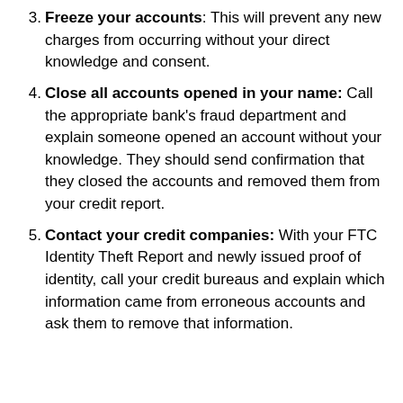3. Freeze your accounts: This will prevent any new charges from occurring without your direct knowledge and consent.
4. Close all accounts opened in your name: Call the appropriate bank's fraud department and explain someone opened an account without your knowledge. They should send confirmation that they closed the accounts and removed them from your credit report.
5. Contact your credit companies: With your FTC Identity Theft Report and newly issued proof of identity, call your credit bureaus and explain which information came from erroneous accounts and ask them to remove that information.